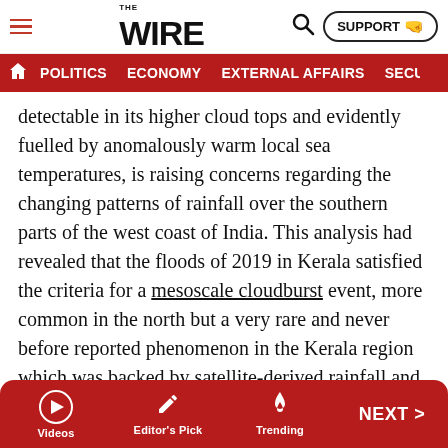THE WIRE — SUPPORT — navigation: POLITICS, ECONOMY, EXTERNAL AFFAIRS, SECU...
detectable in its higher cloud tops and evidently fuelled by anomalously warm local sea temperatures, is raising concerns regarding the changing patterns of rainfall over the southern parts of the west coast of India. This analysis had revealed that the floods of 2019 in Kerala satisfied the criteria for a mesoscale cloudburst event, more common in the north but a very rare and never before reported phenomenon in the Kerala region which was backed by satellite-derived rainfall and cloud microphysical parameters.
“The west coast of India is prone to massive flooding both from a moderate to high intensity rain spell that follows a
Videos | Editor's Pick | Trending | NEXT >